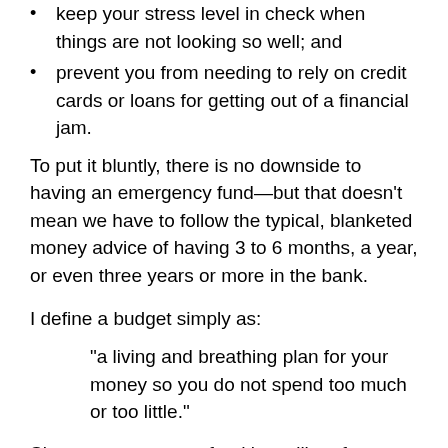keep your stress level in check when things are not looking so well; and
prevent you from needing to rely on credit cards or loans for getting out of a financial jam.
To put it bluntly, there is no downside to having an emergency fund—but that doesn't mean we have to follow the typical, blanketed money advice of having 3 to 6 months, a year, or even three years or more in the bank.
I define a budget simply as:
“a living and breathing plan for your money so you do not spend too much or too little.”
Since an emergency fund is a pillar of your personal budget, it falls under the same rule of not having too much or too little.
That’s right. An emergency fund is a key part of your